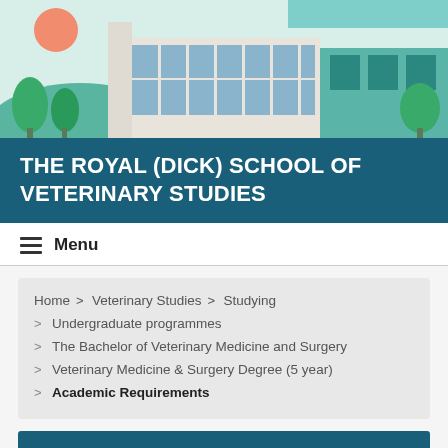[Figure (illustration): Illustrated banner showing a university building with teal/green color scheme, trees, a sun in the upper left, and mountain/sky background]
THE ROYAL (DICK) SCHOOL OF VETERINARY STUDIES
≡ Menu
Home > Veterinary Studies > Studying > Undergraduate programmes > The Bachelor of Veterinary Medicine and Surgery > Veterinary Medicine & Surgery Degree (5 year) > Academic Requirements
Contact us
Academic